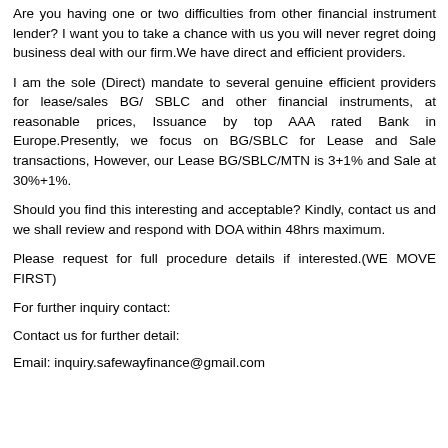Are you having one or two difficulties from other financial instrument lender? I want you to take a chance with us you will never regret doing business deal with our firm.We have direct and efficient providers.
I am the sole (Direct) mandate to several genuine efficient providers for lease/sales BG/ SBLC and other financial instruments, at reasonable prices, Issuance by top AAA rated Bank in Europe.Presently, we focus on BG/SBLC for Lease and Sale transactions, However, our Lease BG/SBLC/MTN is 3+1% and Sale at 30%+1%.
Should you find this interesting and acceptable? Kindly, contact us and we shall review and respond with DOA within 48hrs maximum.
Please request for full procedure details if interested.(WE MOVE FIRST)
For further inquiry contact:
Contact us for further detail:
Email: inquiry.safewayfinance@gmail.com